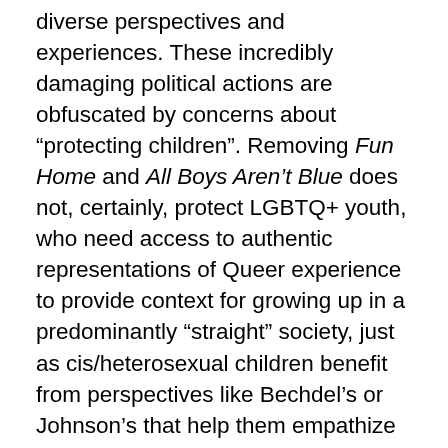diverse perspectives and experiences. These incredibly damaging political actions are obfuscated by concerns about “protecting children”. Removing Fun Home and All Boys Aren’t Blue does not, certainly, protect LGBTQ+ youth, who need access to authentic representations of Queer experience to provide context for growing up in a predominantly “straight” society, just as cis/heterosexual children benefit from perspectives like Bechdel’s or Johnson’s that help them empathize with and understand the broader scope of human experience. Putting Homegoing behind the desk and requiring permission to access it does not help children interested in learning about African history or gaining access to authors writing that directly confronts the ills of slavery and racism on the world stage. In fact, these infringements on the intellectual freedom of youth in your schools cause only harm, and we would assert, do so as part of an agenda that is antithetical to the